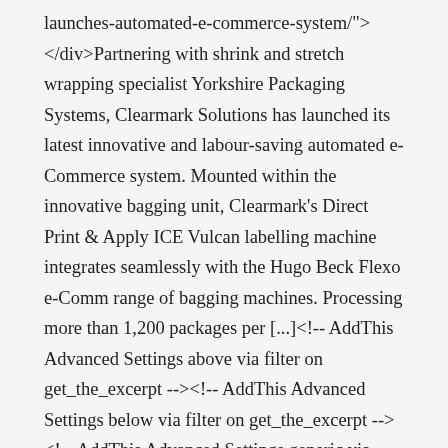launches-automated-e-commerce-system/"> </div>Partnering with shrink and stretch wrapping specialist Yorkshire Packaging Systems, Clearmark Solutions has launched its latest innovative and labour-saving automated e-Commerce system. Mounted within the innovative bagging unit, Clearmark's Direct Print & Apply ICE Vulcan labelling machine integrates seamlessly with the Hugo Beck Flexo e-Comm range of bagging machines. Processing more than 1,200 packages per [...]<!-- AddThis Advanced Settings above via filter on get_the_excerpt --><!-- AddThis Advanced Settings below via filter on get_the_excerpt --><!-- AddThis Advanced Settings generic via filter on get_the_excerpt --><!-- AddThis Share Buttons above via filter on get_the_excerpt --><!-- AddThis Share Buttons below via filter on get_the_excerpt -->